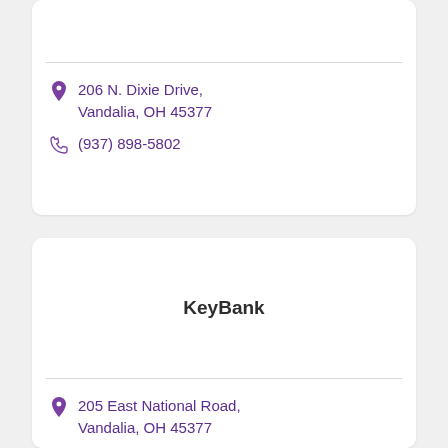206 N. Dixie Drive, Vandalia, OH 45377
(937) 898-5802
KeyBank
205 East National Road, Vandalia, OH 45377